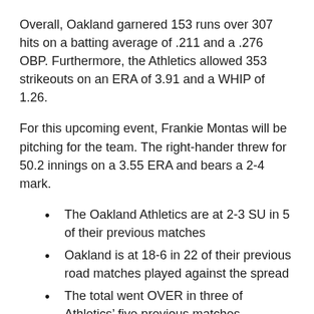Overall, Oakland garnered 153 runs over 307 hits on a batting average of .211 and a .276 OBP.  Furthermore, the Athletics allowed 353 strikeouts on an ERA of 3.91 and a WHIP of 1.26.
For this upcoming event, Frankie Montas will be pitching for the team.  The right-hander threw for 50.2 innings on a 3.55 ERA and bears a 2-4 mark.
The Oakland Athletics are at 2-3 SU in 5 of their previous matches
Oakland is at 18-6 in 22 of their previous road matches played against the spread
The total went OVER in three of Athletics’ five previous matches
Texas Rangers vs Oakland Athletics.  The MLB pick is the Texas Rangers at +105. Texas is a struggling team lately